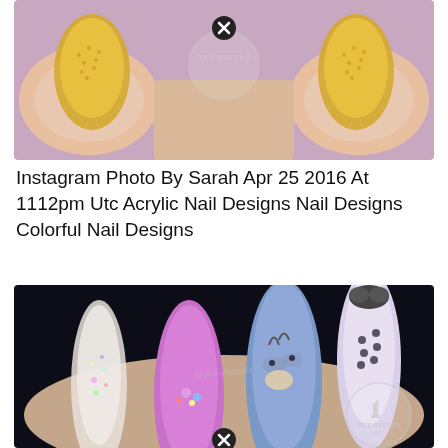[Figure (photo): Close-up photo of stiletto nail art on fingers showing gold/yellow textured nails against skin-toned background, with GET BUFFED NAILS watermark circle and X close button at top]
Instagram Photo By Sarah Apr 25 2016 At 1112pm Utc Acrylic Nail Designs Nail Designs Colorful Nail Designs
[Figure (photo): Close-up photo of stiletto nail art on hand showing: glitter/sequin nail, purple nail with jewels, blue Eeyore character nail, and white polka dot nail on dark background, with GET BUFFED NAILS watermark circle and X close button at bottom]